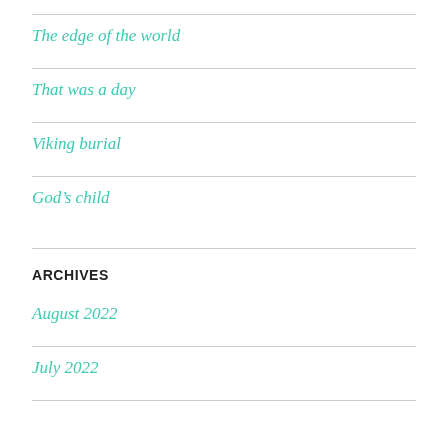The edge of the world
That was a day
Viking burial
God's child
ARCHIVES
August 2022
July 2022